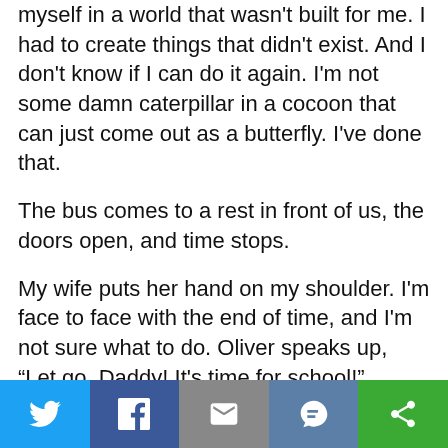myself in a world that wasn't built for me. I had to create things that didn't exist. And I don't know if I can do it again. I'm not some damn caterpillar in a cocoon that can just come out as a butterfly. I've done that.
The bus comes to a rest in front of us, the doors open, and time stops.
My wife puts her hand on my shoulder. I'm face to face with the end of time, and I'm not sure what to do. Oliver speaks up, “Let go, Daddy! It's time for school!”
Ugh, right in the feels.
I know he is right. My boy is ready. My family is ready. I still don't know if I am. I put my sons
Twitter | Facebook | Email | SMS | Share